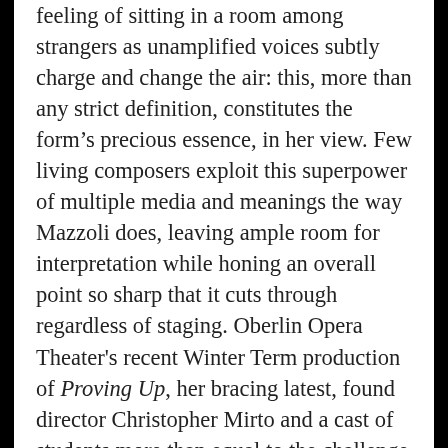feeling of sitting in a room among strangers as unamplified voices subtly charge and change the air: this, more than any strict definition, constitutes the form's precious essence, in her view. Few living composers exploit this superpower of multiple media and meanings the way Mazzoli does, leaving ample room for interpretation while honing an overall point so sharp that it cuts through regardless of staging. Oberlin Opera Theater's recent Winter Term production of Proving Up, her bracing latest, found director Christopher Mirto and a cast of students more than equal to the challenge of realizing the opera's subtext, picking up where music and